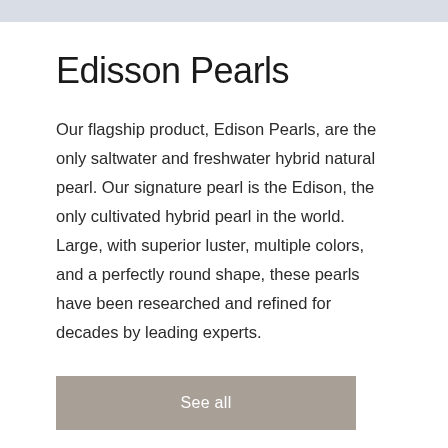Edisson Pearls
Our flagship product, Edison Pearls, are the only saltwater and freshwater hybrid natural pearl. Our signature pearl is the Edison, the only cultivated hybrid pearl in the world. Large, with superior luster, multiple colors, and a perfectly round shape, these pearls have been researched and refined for decades by leading experts.
See all